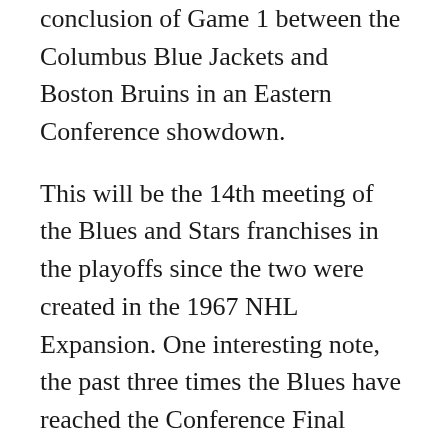conclusion of Game 1 between the Columbus Blue Jackets and Boston Bruins in an Eastern Conference showdown.
This will be the 14th meeting of the Blues and Stars franchises in the playoffs since the two were created in the 1967 NHL Expansion. One interesting note, the past three times the Blues have reached the Conference Final round of the Stanley Cup Playoffs, the Blues had defeated the Stars at some point in the postseason. Most recently, the Blues eliminated the Stars in 7 games in the Second Round of the 2015-16 Playoffs before losing to the Sharks in 6 games; before that, the Note swept the Stars in the Conference Semifinals